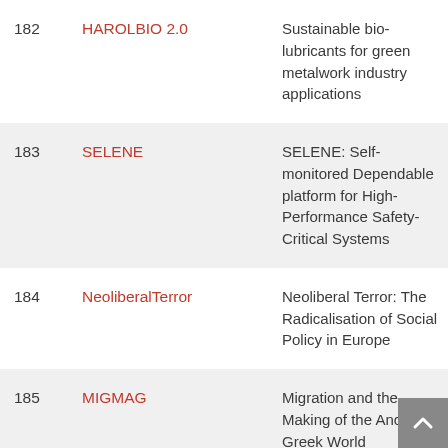| # | Name | Description |
| --- | --- | --- |
| 182 | HAROLBIO 2.0 | Sustainable bio-lubricants for green metalwork industry applications |
| 183 | SELENE | SELENE: Self-monitored Dependable platform for High-Performance Safety-Critical Systems |
| 184 | NeoliberalTerror | Neoliberal Terror: The Radicalisation of Social Policy in Europe |
| 185 | MIGMAG | Migration and the Making of the Ancient Greek World |
| 186 | NSTree | Understanding substrate delivery ... |